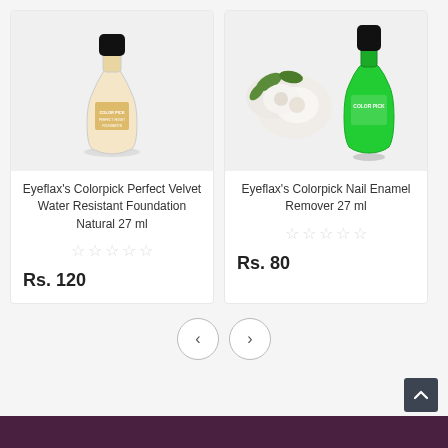[Figure (photo): Photo of Eyeflax's Colorpick Perfect Velvet Water Resistant Foundation Natural 27 ml bottle]
Eyeflax's Colorpick Perfect Velvet Water Resistant Foundation Natural 27 ml
★★★★★ (empty stars rating)
Rs. 120
[Figure (photo): Photo of Eyeflax's Colorpick Nail Enamel Remover 27 ml bottle (green) with white roses]
Eyeflax's Colorpick Nail Enamel Remover 27 ml
★★★★★ (empty stars rating)
Rs. 80